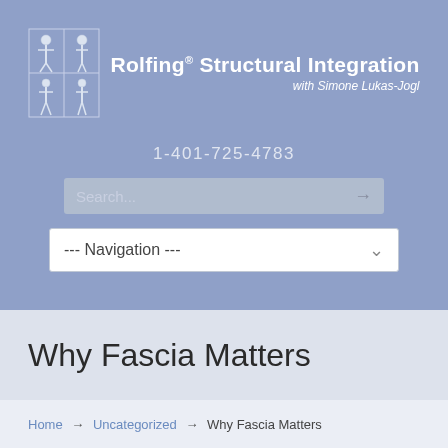Rolfing® Structural Integration with Simone Lukas-Jogl
1-401-725-4783
Why Fascia Matters
Home → Uncategorized → Why Fascia Matters